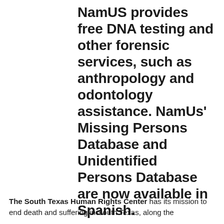NamUS provides free DNA testing and other forensic services, such as anthropology and odontology assistance. NamUs' Missing Persons Database and Unidentified Persons Database are now available in Spanish.
The South Texas Human Rights Center has its mission to end death and suffering in South Texas, along the